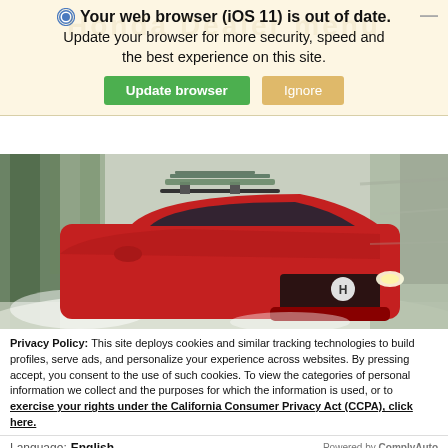Your web browser (iOS 11) is out of date. Update your browser for more security, speed and the best experience on this site.
Update browser | Ignore
[Figure (photo): Red SUV (Honda Pilot) driving on a snowy road with ski equipment on roof rack, motion blur background of trees]
Privacy Policy: This site deploys cookies and similar tracking technologies to build profiles, serve ads, and personalize your experience across websites. By pressing accept, you consent to the use of such cookies. To view the categories of personal information we collect and the purposes for which the information is used, or to exercise your rights under the California Consumer Privacy Act (CCPA), click here.
Language: English  ∨  Powered by ComplyAuto
Accept and Continue →  |  California Privacy Disclosures  |  ×